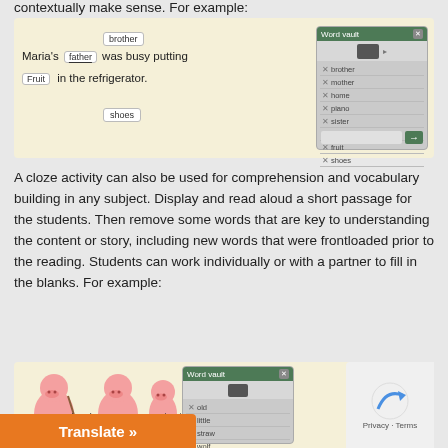contextually make sense. For example:
[Figure (screenshot): A cloze drag-and-drop activity showing the sentence 'Maria's father was busy putting Fruit in the refrigerator.' with word tiles (brother, father, Fruit, shoes) and a Word Vault panel listing vocabulary words.]
A cloze activity can also be used for comprehension and vocabulary building in any subject. Display and read aloud a short passage for the students. Then remove some words that are key to understanding the content or story, including new words that were frontloaded prior to the reading. Students can work individually or with a partner to fill in the blanks. For example:
[Figure (screenshot): A cloze activity with an image of three pigs, partial sentence text 'Once upon a time there was an ___ pig with _s, and because there was ___ them, she sent them fortunes.' and a Word Vault panel on the right.]
Translate »